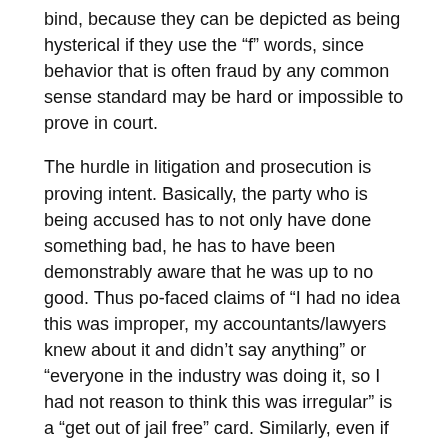bind, because they can be depicted as being hysterical if they use the “f” words, since behavior that is often fraud by any common sense standard may be hard or impossible to prove in court.
The hurdle in litigation and prosecution is proving intent. Basically, the party who is being accused has to not only have done something bad, he has to have been demonstrably aware that he was up to no good. Thus po-faced claims of “I had no idea this was improper, my accountants/lawyers knew about it and didn’t say anything” or “everyone in the industry was doing it, so I had not reason to think this was irregular” is a “get out of jail free” card. Similarly, even if lower level employees knew that their company was up to stuff that stank, if the decision-makers can plausibly claim ignorance, again they can probably get away with it.
So it is gratifying in a perverse way to see a case in which the perp not only looks to have engaged in chicanery, but the facts make it pretty hard for him to say he didn’t know he was pulling a fast one. And even more fun, it involves JP Morgan, which has somehow managed to create the impression that it was better than all the other TARP banks, when on the mortgage front, there is plenty evidence to suggest that all